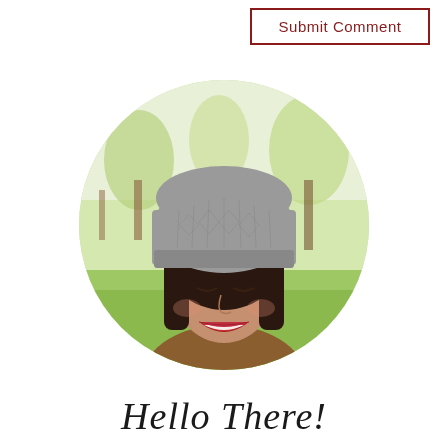Submit Comment
[Figure (photo): Circular portrait photo of a smiling woman with dark hair and bangs, wearing a grey knit beanie hat and brown jacket, outdoors with trees and green grass in the background]
Hello There!